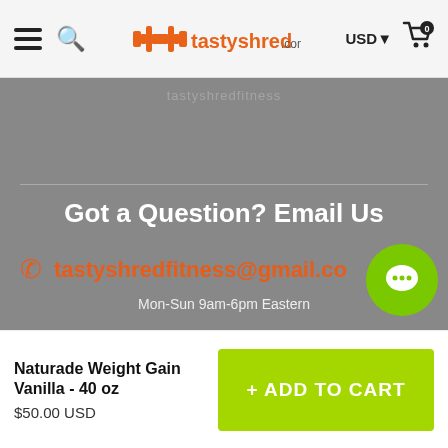tastyshred.com | USD | Cart (0)
Got a Question? Email Us
tastyshredfitness@gmail.com
Mon-Sun 9am-6pm Eastern
Naturade Weight Gain Vanilla - 40 oz
$50.00 USD
+ ADD TO CART